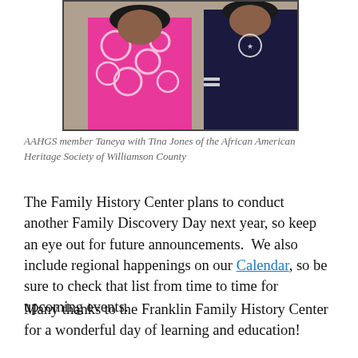[Figure (photo): Photo of two people: one in a pink patterned top and one in a dark navy top, standing together.]
AAHGS member Taneya with Tina Jones of the African American Heritage Society of Williamson County
The Family History Center plans to conduct another Family Discovery Day next year, so keep an eye out for future announcements.  We also include regional happenings on our Calendar, so be sure to check that list from time to time for upcoming events.
Many thanks to the Franklin Family History Center for a wonderful day of learning and education!